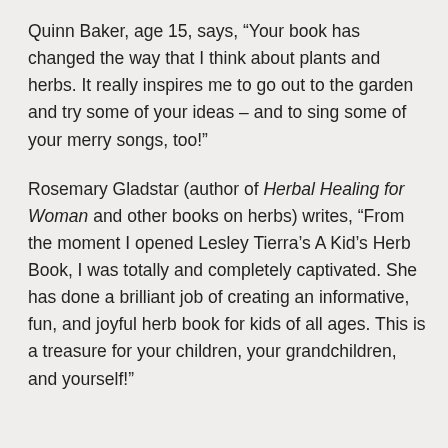Quinn Baker, age 15, says, “Your book has changed the way that I think about plants and herbs. It really inspires me to go out to the garden and try some of your ideas – and to sing some of your merry songs, too!”
Rosemary Gladstar (author of Herbal Healing for Woman and other books on herbs) writes, “From the moment I opened Lesley Tierra’s A Kid’s Herb Book, I was totally and completely captivated. She has done a brilliant job of creating an informative, fun, and joyful herb book for kids of all ages. This is a treasure for your children, your grandchildren, and yourself!”